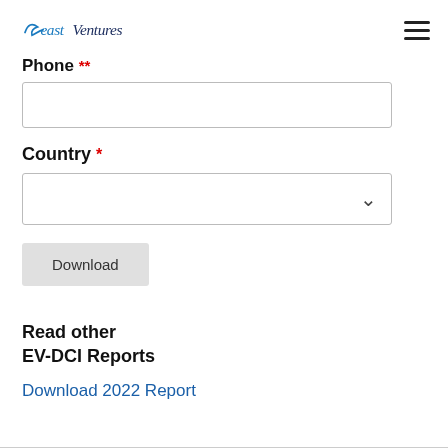East Ventures
Phone *
Country *
Download
Read other EV-DCI Reports
Download 2022 Report